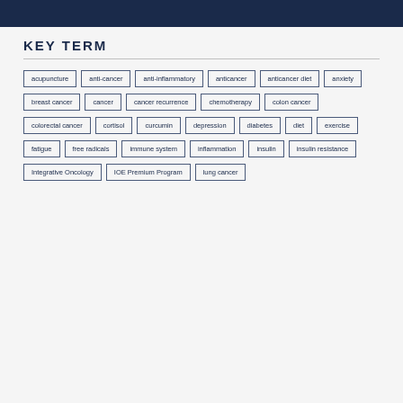KEY TERM
acupuncture
anti-cancer
anti-inflammatory
anticancer
anticancer diet
anxiety
breast cancer
cancer
cancer recurrence
chemotherapy
colon cancer
colorectal cancer
cortisol
curcumin
depression
diabetes
diet
exercise
fatigue
free radicals
immune system
inflammation
insulin
insulin resistance
Integrative Oncology
IOE Premium Program
lung cancer